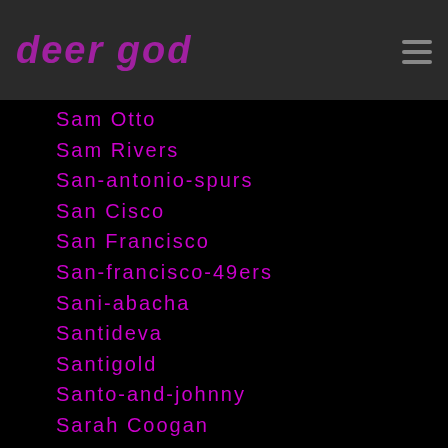deer god
Sam Otto
Sam Rivers
San-antonio-spurs
San Cisco
San Francisco
San-francisco-49ers
Sani-abacha
Santideva
Santigold
Santo-and-johnny
Sarah Coogan
Sarah-silverman
Sarah-valentine
Sarah Vowell
Sara Quin
Sascha Konietzko
Saturday Night Live